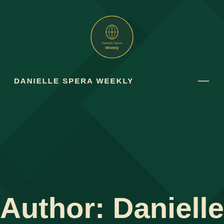[Figure (logo): Danielle Spera Weekly circular logo with globe icon and text]
DANIELLE SPERA WEEKLY
Author: Danielle